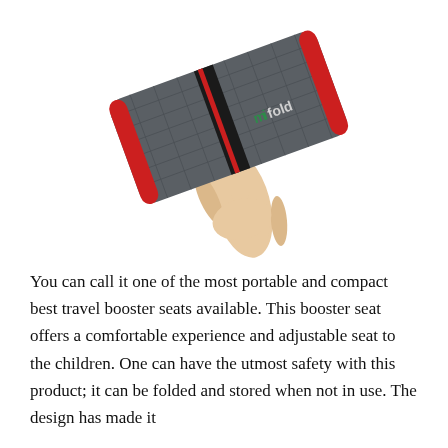[Figure (photo): A hand holding a mifold portable booster seat. The seat is compact, grey with red trim and a red/black strap across the middle. The mifold logo is visible in green on the seat.]
You can call it one of the most portable and compact best travel booster seats available. This booster seat offers a comfortable experience and adjustable seat to the children. One can have the utmost safety with this product; it can be folded and stored when not in use. The design has made it